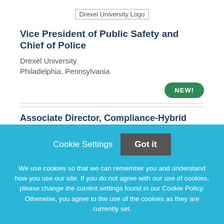[Figure (logo): Drexel University Logo]
Vice President of Public Safety and Chief of Police
Drexel University
Philadelphia, Pennsylvania
NEW!
Associate Director, Compliance-Hybrid Schedule
Cookie Settings  Got it

We use cookies so that we can remember you and understand how you use our site. If you do not agree with our use of cookies, please change the current settings found in our Cookie Policy. Otherwise, you agree to the use of the cookies as they are currently set.